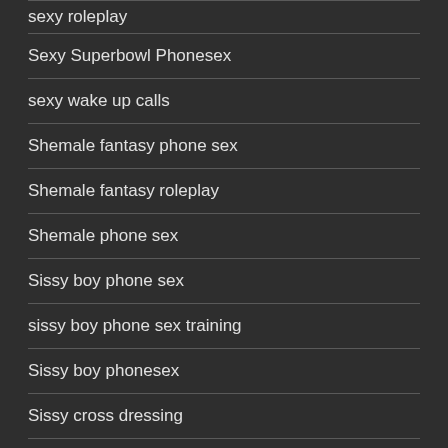sexy roleplay
Sexy Superbowl Phonesex
sexy wake up calls
Shemale fantasy phone sex
Shemale fantasy roleplay
Shemale phone sex
Sissy boy phone sex
sissy boy phone sex training
Sissy boy phonesex
Sissy cross dressing
Sissy Night out
sissy phone sex